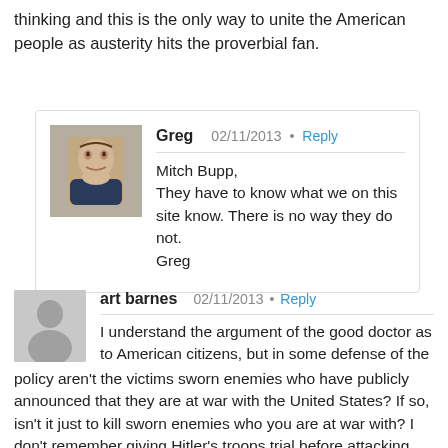thinking and this is the only way to unite the American people as austerity hits the proverbial fan.
Greg
02/11/2013 • Reply
Mitch Bupp,
They have to know what we on this site know. There is no way they do not.
Greg
art barnes
02/11/2013 • Reply
I understand the argument of the good doctor as to American citizens, but in some defense of the policy aren't the victims sworn enemies who have publicly announced that they are at war with the United States? If so, isn't it just to kill sworn enemies who you are at war with? I don't remember giving Hitler's troops trial before attacking them on the battle field. I'm sure I may be missing the point, but clearly Bin Laden and his gang of brothers don't need trial in order to be